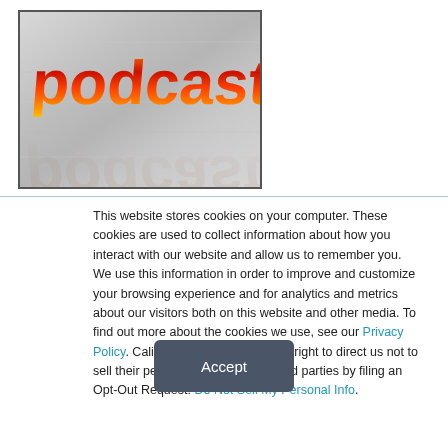[Figure (logo): Podcast logo image with stylized orange-red gradient 'podcast' text on a gray metallic background with a reflection effect below the text]
This website stores cookies on your computer. These cookies are used to collect information about how you interact with our website and allow us to remember you. We use this information in order to improve and customize your browsing experience and for analytics and metrics about our visitors both on this website and other media. To find out more about the cookies we use, see our Privacy Policy. California residents have the right to direct us not to sell their personal information to third parties by filing an Opt-Out Request: Do Not Sell My Personal Info.
Accept